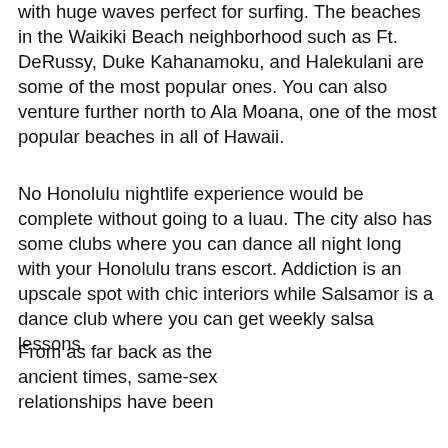with huge waves perfect for surfing. The beaches in the Waikiki Beach neighborhood such as Ft. DeRussy, Duke Kahanamoku, and Halekulani are some of the most popular ones. You can also venture further north to Ala Moana, one of the most popular beaches in all of Hawaii.
No Honolulu nightlife experience would be complete without going to a luau. The city also has some clubs where you can dance all night long with your Honolulu trans escort. Addiction is an upscale spot with chic interiors while Salsamor is a dance club where you can get weekly salsa lessons.
From as far back as the ancient times, same-sex relationships have been